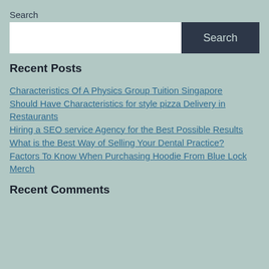Search
[Search input field and Search button]
Recent Posts
Characteristics Of A Physics Group Tuition Singapore
Should Have Characteristics for style pizza Delivery in Restaurants
Hiring a SEO service Agency for the Best Possible Results
What is the Best Way of Selling Your Dental Practice?
Factors To Know When Purchasing Hoodie From Blue Lock Merch
Recent Comments